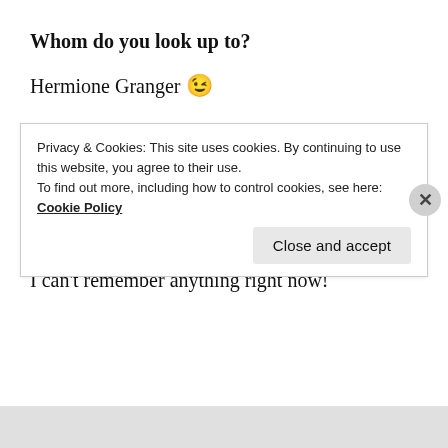Whom do you look up to?
Hermione Granger 😉
A language you would love to explore?
Italian.
Your favourite comic character?
I can't remember anything right now!
Privacy & Cookies: This site uses cookies. By continuing to use this website, you agree to their use.
To find out more, including how to control cookies, see here: Cookie Policy